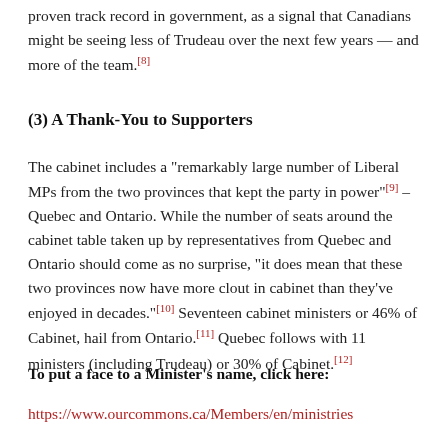proven track record in government, as a signal that Canadians might be seeing less of Trudeau over the next few years — and more of the team.[8]
(3) A Thank-You to Supporters
The cabinet includes a "remarkably large number of Liberal MPs from the two provinces that kept the party in power"[9] – Quebec and Ontario. While the number of seats around the cabinet table taken up by representatives from Quebec and Ontario should come as no surprise, "it does mean that these two provinces now have more clout in cabinet than they've enjoyed in decades."[10] Seventeen cabinet ministers or 46% of Cabinet, hail from Ontario.[11] Quebec follows with 11 ministers (including Trudeau) or 30% of Cabinet.[12]
To put a face to a Minister's name, click here:
https://www.ourcommons.ca/Members/en/ministries